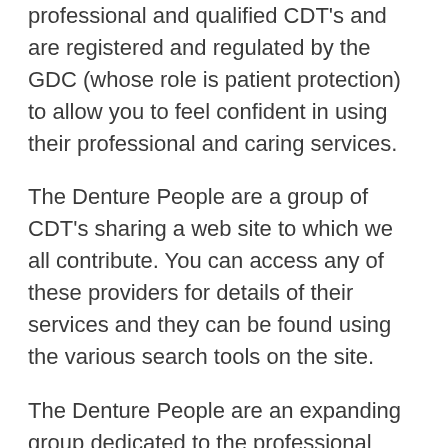professional and qualified CDT's and are registered and regulated by the GDC (whose role is patient protection) to allow you to feel confident in using their professional and caring services.
The Denture People are a group of CDT's sharing a web site to which we all contribute. You can access any of these providers for details of their services and they can be found using the various search tools on the site.
The Denture People are an expanding group dedicated to the professional